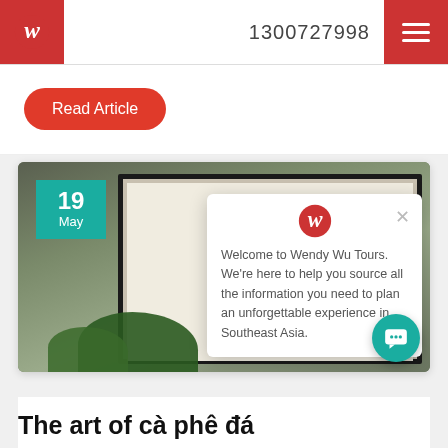1300727998
Read Article
[Figure (photo): Photo of a Vietnamese coffee shop wall display showing a Cheo Leo coffee illustration poster in a black frame, with green plants in the foreground. A date badge shows '19 May' in teal. A popup dialog from Wendy Wu Tours overlays the image.]
Welcome to Wendy Wu Tours. We're here to help you source all the information you need to plan an unforgettable experience in Southeast Asia.
The art of cà phê đá